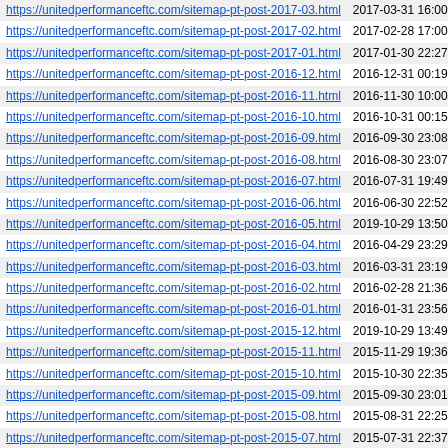| URL | Date |
| --- | --- |
| https://unitedperformanceftc.com/sitemap-pt-post-2017-03.html | 2017-03-31 16:00 |
| https://unitedperformanceftc.com/sitemap-pt-post-2017-02.html | 2017-02-28 17:00 |
| https://unitedperformanceftc.com/sitemap-pt-post-2017-01.html | 2017-01-30 22:27 |
| https://unitedperformanceftc.com/sitemap-pt-post-2016-12.html | 2016-12-31 00:19 |
| https://unitedperformanceftc.com/sitemap-pt-post-2016-11.html | 2016-11-30 10:00 |
| https://unitedperformanceftc.com/sitemap-pt-post-2016-10.html | 2016-10-31 00:15 |
| https://unitedperformanceftc.com/sitemap-pt-post-2016-09.html | 2016-09-30 23:08 |
| https://unitedperformanceftc.com/sitemap-pt-post-2016-08.html | 2016-08-30 23:07 |
| https://unitedperformanceftc.com/sitemap-pt-post-2016-07.html | 2016-07-31 19:49 |
| https://unitedperformanceftc.com/sitemap-pt-post-2016-06.html | 2016-06-30 22:52 |
| https://unitedperformanceftc.com/sitemap-pt-post-2016-05.html | 2019-10-29 13:50 |
| https://unitedperformanceftc.com/sitemap-pt-post-2016-04.html | 2016-04-29 23:29 |
| https://unitedperformanceftc.com/sitemap-pt-post-2016-03.html | 2016-03-31 23:19 |
| https://unitedperformanceftc.com/sitemap-pt-post-2016-02.html | 2016-02-28 21:36 |
| https://unitedperformanceftc.com/sitemap-pt-post-2016-01.html | 2016-01-31 23:56 |
| https://unitedperformanceftc.com/sitemap-pt-post-2015-12.html | 2019-10-29 13:49 |
| https://unitedperformanceftc.com/sitemap-pt-post-2015-11.html | 2015-11-29 19:36 |
| https://unitedperformanceftc.com/sitemap-pt-post-2015-10.html | 2015-10-30 22:35 |
| https://unitedperformanceftc.com/sitemap-pt-post-2015-09.html | 2015-09-30 23:01 |
| https://unitedperformanceftc.com/sitemap-pt-post-2015-08.html | 2015-08-31 22:25 |
| https://unitedperformanceftc.com/sitemap-pt-post-2015-07.html | 2015-07-31 22:37 |
| https://unitedperformanceftc.com/sitemap-pt-post-2015-06.html | 2015-06-30 19:34 |
| https://unitedperformanceftc.com/sitemap-pt-post-2015-05.html | 2019-01-28 01:50 |
| https://unitedperformanceftc.com/sitemap-pt-post-2015-04.html | 2015-04-30 00:26 |
| https://unitedperformanceftc.com/sitemap-pt-post-2015-03.html | 2015-03-31 23:59 |
| https://unitedperformanceftc.com/sitemap-pt-post-2015-02.html | 2015-02-27 02:04 |
| https://unitedperformanceftc.com/sitemap-pt-post-2015-01.html | 2015-01-30 23:44 |
| https://unitedperformanceftc.com/sitemap-pt-post-2014-12.html | 2014-12-31 02:04 |